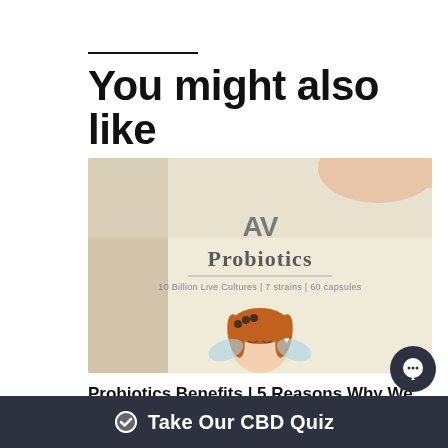You might also like
[Figure (photo): Close-up photo of a hand holding a packet of AV Probiotics supplement — 10 Billion Live Cultures | 7 strains | 60 capsules — with a cartoon fairy illustration on the front of the packaging.]
Probiotics Benefits | 5 Reasons Why We Love Probiotics
We have found probiotics to have some great
Take Our CBD Quiz